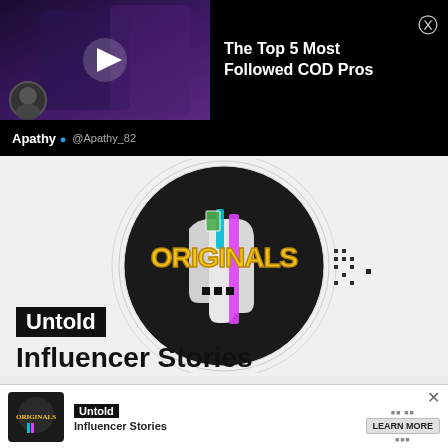[Figure (screenshot): Video thumbnail showing a person in purple/dark gaming attire with play button overlay, and avatar of Apathy in bottom-left corner. Black background.]
The Top 5 Most Followed COD Pros
Apathy ✓
@Apathy_82
[Figure (logo): Originals logo — circular dark graphic with colorful bands (green, teal, pink/magenta) and graffiti-style 'ORIGINALS' text in yellow/gold. TikTok Originals branding.]
Untold Influencer Stories
[Figure (screenshot): Bottom advertisement bar showing Originals mini logo on left, 'Untold Influencer Stories' text in middle, and 'LEARN MORE' button on right with X close button.]